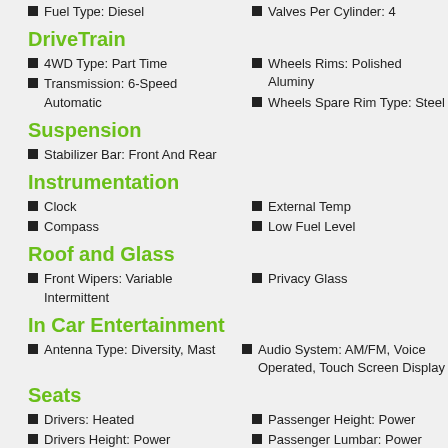Fuel Type: Diesel
Valves Per Cylinder: 4
DriveTrain
4WD Type: Part Time
Wheels Rims: Polished Aluminum
Transmission: 6-Speed Automatic
Wheels Spare Rim Type: Steel
Suspension
Stabilizer Bar: Front And Rear
Instrumentation
Clock
External Temp
Compass
Low Fuel Level
Roof and Glass
Front Wipers: Variable Intermittent
Privacy Glass
In Car Entertainment
Antenna Type: Diversity, Mast
Audio System: AM/FM, Voice Operated, Touch Screen Display
Seats
Drivers: Heated
Passenger Height: Power
Drivers Height: Power
Passenger Lumbar: Power
Drivers Lumbar: Power
Passenger Power: 8
Drivers Power: 8
Seating Capacity: 6
Passenger: Heated
Convenience